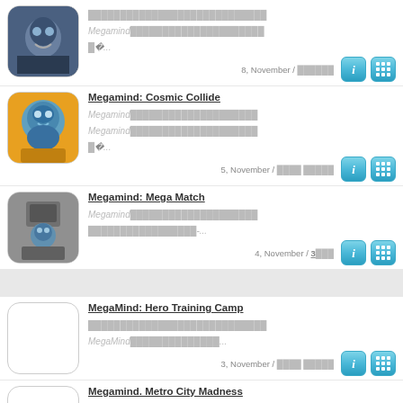Megamind [Thai text] 8, November / [Thai text]
Megamind: Cosmic Collide - Megamind [Thai text] 5, November / [Thai text]
Megamind: Mega Match - Megamind [Thai text] 4, November / 3[Thai]
MegaMind: Hero Training Camp - [Thai text] MegaMind [Thai text] 3, November / [Thai text]
Megamind. Metro City Madness - [Thai text] Megamind [Thai text] 2, November / [Thai text]